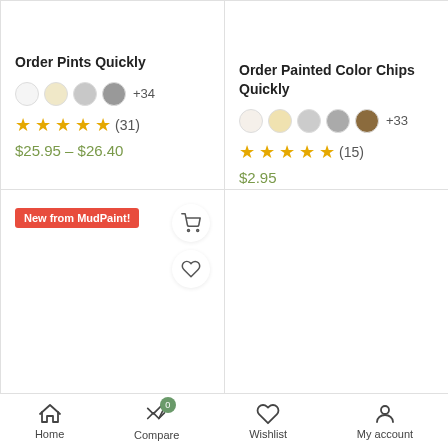Order Pints Quickly
★★★★½ (31)
$25.95 – $26.40
Order Painted Color Chips Quickly
★★★★★ (15)
$2.95
New from MudPaint!
Home   Compare 0   Wishlist   My account